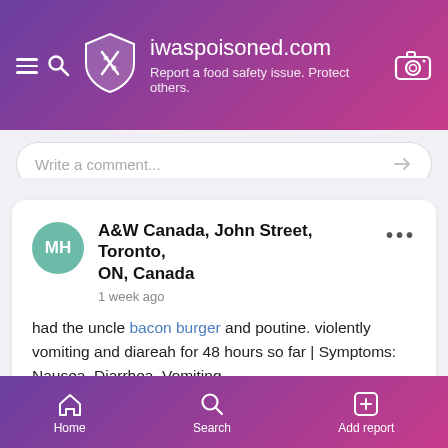iwaspoisoned.com — Report a food safety issue. Protect others.
Write a comment...
A&W Canada, John Street, Toronto, ON, Canada
1 week ago
had the uncle bacon burger and poutine. violently vomiting and diareah for 48 hours so far | Symptoms: Nausea, Diarrhea, Vomiting
#aw #toronto #ontario #canada #nausea #diarrhea #vomiting
766
Home  Search  Add report